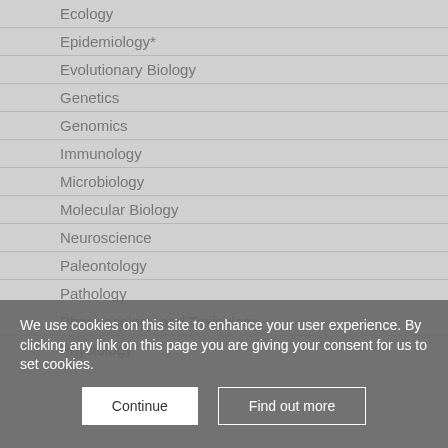Ecology
Epidemiology*
Evolutionary Biology
Genetics
Genomics
Immunology
Microbiology
Molecular Biology
Neuroscience
Paleontology
Pathology
Pharmacology and Toxicology
Physiology
We use cookies on this site to enhance your user experience. By clicking any link on this page you are giving your consent for us to set cookies.